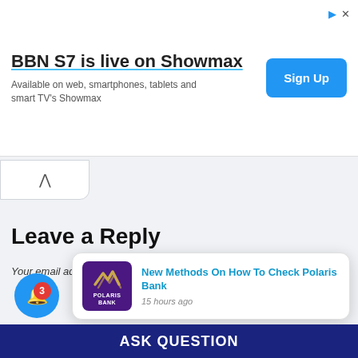[Figure (screenshot): Advertisement banner for Showmax: 'BBN S7 is live on Showmax' with 'Sign Up' button and subtitle 'Available on web, smartphones, tablets and smart TV's Showmax']
Leave a Reply
Your email address will not be published. Required fields are marked *
[Figure (screenshot): Notification popup card showing Polaris Bank logo and text 'New Methods On How To Check Polaris Bank' with timestamp '15 hours ago']
ASK QUESTION